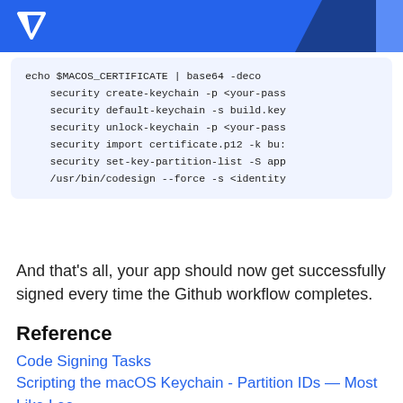[Figure (other): Code block showing shell commands for macOS code signing: echo $MACOS_CERTIFICATE | base64 -deco..., security create-keychain -p <your-pass..., security default-keychain -s build.key..., security unlock-keychain -p <your-pass..., security import certificate.p12 -k bu:..., security set-key-partition-list -S app..., /usr/bin/codesign --force -s <identity]
And that's all, your app should now get successfully signed every time the Github workflow completes.
Reference
Code Signing Tasks
Scripting the macOS Keychain - Partition IDs — Most Like Lee